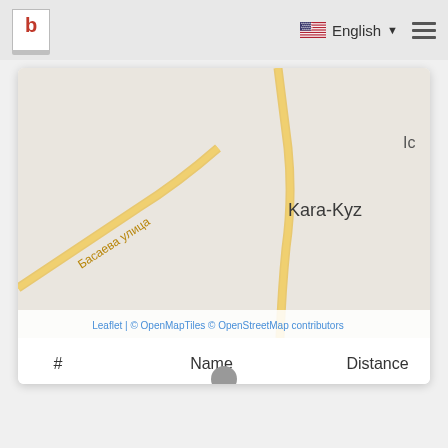English
[Figure (map): OpenStreetMap tile showing Kara-Kyz area with roads and Cyrillic street label 'Басаева улица'. Yellow roads visible. Attribution: Leaflet | © OpenMapTiles © OpenStreetMap contributors]
Leaflet | © OpenMapTiles © OpenStreetMap contributors
| # | Name | Distance |
| --- | --- | --- |